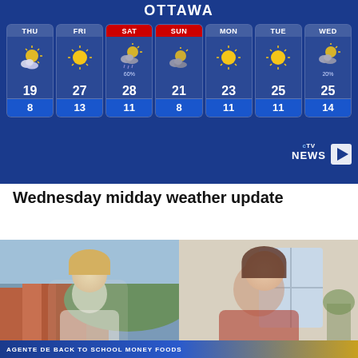[Figure (screenshot): CTV News Ottawa 7-day weather forecast screenshot showing Thu through Wed with temperatures. THU: high 19, low 8; FRI: high 27, low 13; SAT (highlighted red): high 28, low 11, 60%; SUN (highlighted red): high 21, low 8; MON: high 23, low 11; TUE: high 25, low 11; WED: high 25, low 14, 20%.]
Wednesday midday weather update
[Figure (screenshot): CTV News broadcast screenshot showing a female anchor in studio on left and a female guest smiling on video call on right. Lower third banner visible at bottom reading: AGENTE DE BACK TO SCHOOL MONEY FOODS]